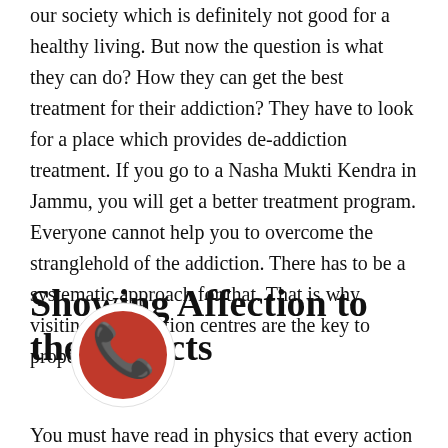our society which is definitely not good for a healthy living. But now the question is what they can do? How they can get the best treatment for their addiction? They have to look for a place which provides de-addiction treatment. If you go to a Nasha Mukti Kendra in Jammu, you will get a better treatment program. Everyone cannot help you to overcome the stranglehold of the addiction. There has to be a systematic approach for that. That is why visiting de-addiction centres are the key to proper treatment.
Showing Affection to the Addicts
You must have read in physics that every action has